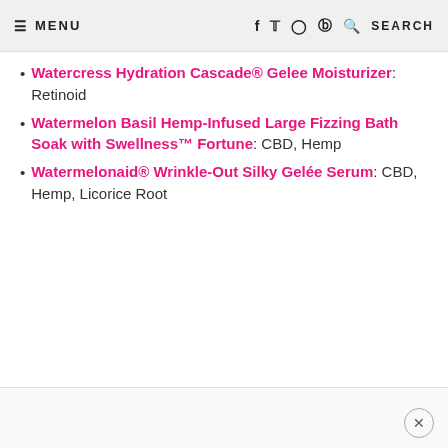≡ MENU    f  t  ⊙  ⊕  🔍 SEARCH
Watercress Hydration Cascade® Gelee Moisturizer: Retinoid
Watermelon Basil Hemp-Infused Large Fizzing Bath Soak with Swellness™ Fortune: CBD, Hemp
Watermelonaid® Wrinkle-Out Silky Gelée Serum: CBD, Hemp, Licorice Root
×